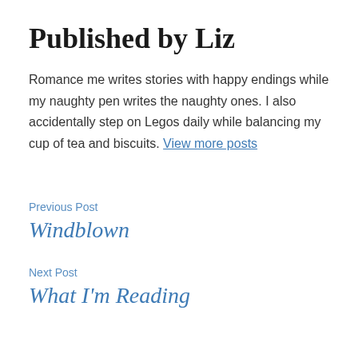Published by Liz
Romance me writes stories with happy endings while my naughty pen writes the naughty ones. I also accidentally step on Legos daily while balancing my cup of tea and biscuits. View more posts
Previous Post
Windblown
Next Post
What I'm Reading